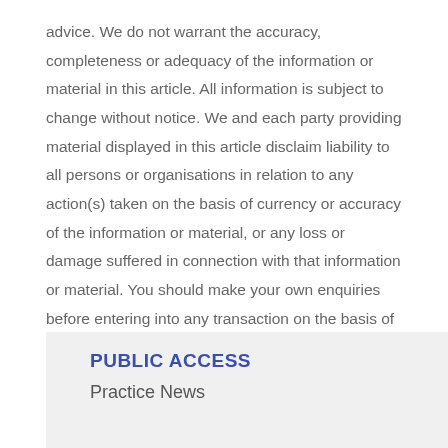advice. We do not warrant the accuracy, completeness or adequacy of the information or material in this article. All information is subject to change without notice. We and each party providing material displayed in this article disclaim liability to all persons or organisations in relation to any action(s) taken on the basis of currency or accuracy of the information or material, or any loss or damage suffered in connection with that information or material. You should make your own enquiries before entering into any transaction on the basis of the information or material in this article. Please ensure you contact us to discuss your particular circumstances and how the information provided applies to your situation.
PUBLIC ACCESS
Practice News